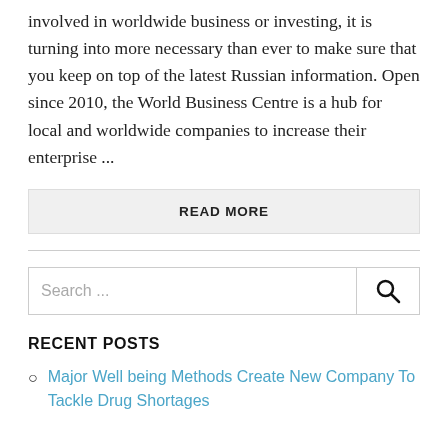involved in worldwide business or investing, it is turning into more necessary than ever to make sure that you keep on top of the latest Russian information. Open since 2010, the World Business Centre is a hub for local and worldwide companies to increase their enterprise ...
READ MORE
Search ...
RECENT POSTS
Major Well being Methods Create New Company To Tackle Drug Shortages